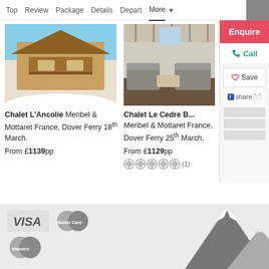Top | Review | Package | Details | Depart | More
[Figure (photo): Chalet L'Ancolie exterior photo - wooden Alpine chalet with balconies and snow in Meribel]
Chalet L'Ancolie Meribel & Mottaret France, Dover Ferry 18th March.
From £1139pp
[Figure (photo): Chalet Le Cedre B... interior photo - living room with sofas and wooden ceiling in Meribel]
Chalet Le Cedre B... Meribel & Mottaret France, Dover Ferry 25th March.
From £1129pp
☆☆☆☆☆ (1)
[Figure (infographic): Payment logos: VISA, MasterCard, Maestro. Mountain silhouette graphic in background.]